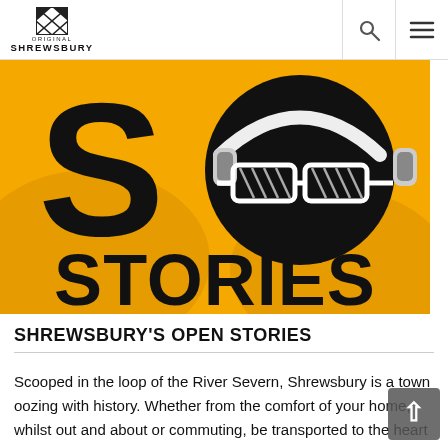ORIGINAL SHREWSBURY
[Figure (logo): SO Stories podcast logo on orange/yellow background. Large black letter S on left, large black circle with white sunglasses and headphones forming the letter O on right, bold black text STORIES below]
SHREWSBURY'S OPEN STORIES
Scooped in the loop of the River Severn, Shrewsbury is a town oozing with history. Whether from the comfort of your home, whilst out and about or commuting, be transported to the heart